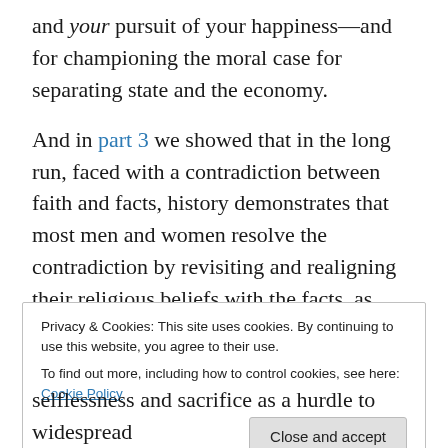and your pursuit of your happiness—and for championing the moral case for separating state and the economy.
And in part 3 we showed that in the long run, faced with a contradiction between faith and facts, history demonstrates that most men and women resolve the contradiction by revisiting and realigning their religious beliefs with the facts, as exemplified by what happened in the aftermath of Galileo's discovery of heliocentrism, William Smith's discoveries in geology, and countless other scientific discoveries.
Privacy & Cookies: This site uses cookies. By continuing to use this website, you agree to their use.
To find out more, including how to control cookies, see here: Cookie Policy
[Close and accept]
selflessness and sacrifice as a hurdle to widespread